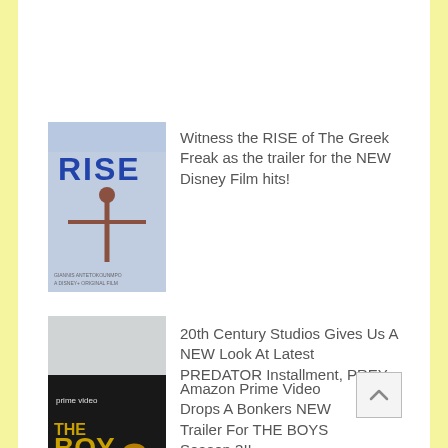Witness the RISE of The Greek Freak as the trailer for the NEW Disney Film hits!
20th Century Studios Gives Us A NEW Look At Latest PREDATOR Installment, PREY
Amazon Prime Video Drops A Bonkers NEW Trailer For THE BOYS Season 3!!